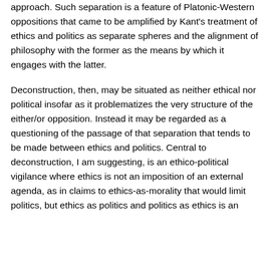approach. Such separation is a feature of Platonic-Western oppositions that came to be amplified by Kant's treatment of ethics and politics as separate spheres and the alignment of philosophy with the former as the means by which it engages with the latter.
Deconstruction, then, may be situated as neither ethical nor political insofar as it problematizes the very structure of the either/or opposition. Instead it may be regarded as a questioning of the passage of that separation that tends to be made between ethics and politics. Central to deconstruction, I am suggesting, is an ethico-political vigilance where ethics is not an imposition of an external agenda, as in claims to ethics-as-morality that would limit politics, but ethics as politics and politics as ethics is an